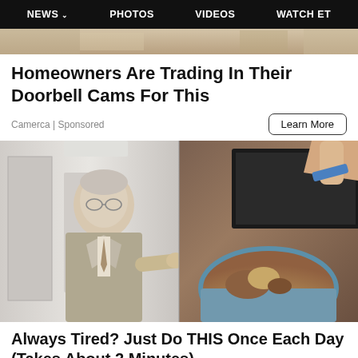NEWS  PHOTOS  VIDEOS  WATCH ET
[Figure (photo): Partial top image strip visible at the top of the page]
Homeowners Are Trading In Their Doorbell Cams For This
Camerca | Sponsored
[Figure (photo): Composite image: left side shows an older man in suit pointing right, standing in a hallway; right side shows hands handling objects in a sand-filled bowl with blue border]
Always Tired? Just Do THIS Once Each Day (Takes About 2 Minutes)